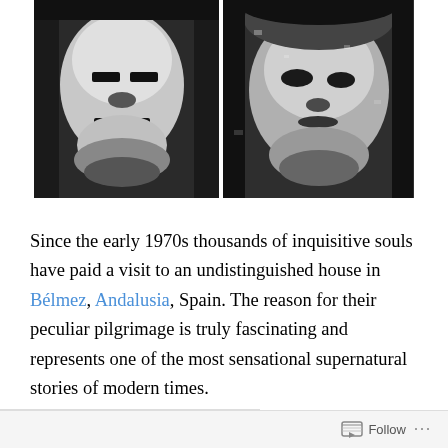[Figure (photo): Two side-by-side black and white photographs showing ghostly, blurry human faces (the Faces of Bélmez) appearing on concrete or stone surfaces.]
Since the early 1970s thousands of inquisitive souls have paid a visit to an undistinguished house in Bélmez, Andalusia, Spain. The reason for their peculiar pilgrimage is truly fascinating and represents one of the most sensational supernatural stories of modern times.
The terrifying tale began in August 1971 when Maria Gómez Cámara witnessed what appeared to be a human
Follow ...